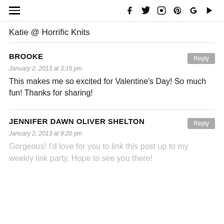≡  f  Twitter  Instagram  Pinterest  G+  YouTube
Katie @ Horrific Knits
BROOKE
January 2, 2013 at 3:15 pm
This makes me so excited for Valentine's Day! So much fun! Thanks for sharing!
JENNIFER DAWN OLIVER SHELTON
January 2, 2013 at 9:20 pm
Gorgeous! I'd love for you to link this post up to my weekly link party. Hope to see you there!